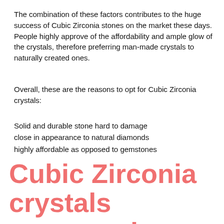The combination of these factors contributes to the huge success of Cubic Zirconia stones on the market these days. People highly approve of the affordability and ample glow of the crystals, therefore preferring man-made crystals to naturally created ones.
Overall, these are the reasons to opt for Cubic Zirconia crystals:
Solid and durable stone hard to damage
close in appearance to natural diamonds
highly affordable as opposed to gemstones
Cubic Zirconia crystals compared to Swarovski and diamonds